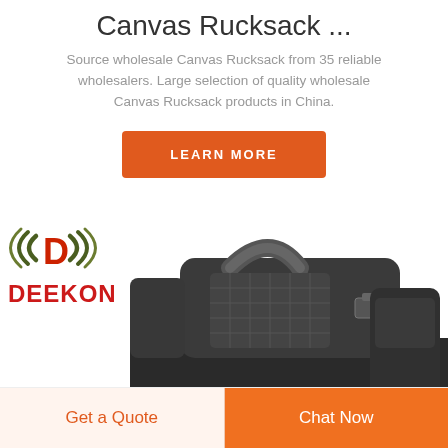Canvas Rucksack ...
Source wholesale Canvas Rucksack from 35 reliable wholesalers. Large selection of quality wholesale Canvas Rucksack products in China.
LEARN MORE
[Figure (logo): DEEKON brand logo with olive/green arc wave icon above red bold text DEEKON]
[Figure (photo): Close-up photo of a black tactical/military rucksack showing the handle and top straps detail in grayscale]
Get a Quote
Chat Now